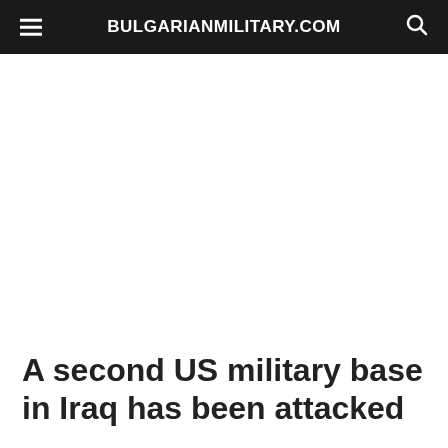BULGARIANMILITARY.COM
A second US military base in Iraq has been attacked